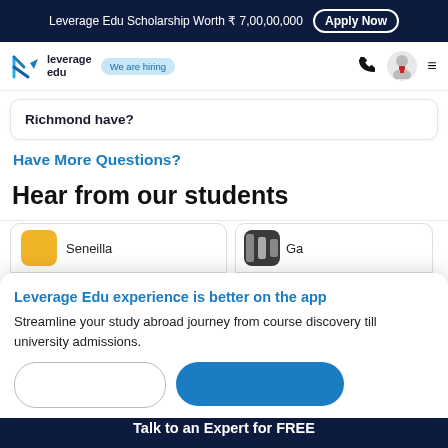Leverage Edu Scholarship Worth ₹ 7,00,00,000  Apply Now
[Figure (logo): Leverage Edu logo with 'We are hiring' badge and navigation icons]
Richmond have?
Have More Questions?
Hear from our students
[Figure (screenshot): Student testimonial cards showing Seneilla and Ga... partial names with avatars]
Leverage Edu experience is better on the app
Streamline your study abroad journey from course discovery till university admissions.
Talk to an Expert for FREE